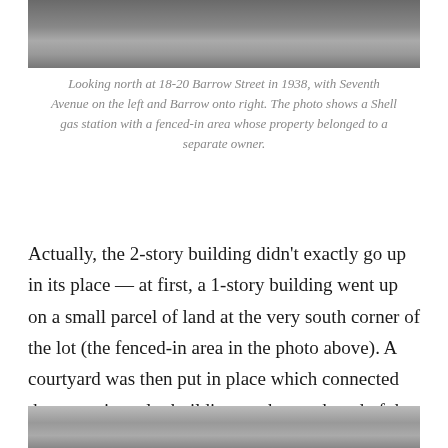[Figure (photo): Black and white photograph looking north at 18-20 Barrow Street in 1938, top portion visible]
Looking north at 18-20 Barrow Street in 1938, with Seventh Avenue on the left and Barrow onto right. The photo shows a Shell gas station with a fenced-in area whose property belonged to a separate owner.
Actually, the 2-story building didn’t exactly go up in its place — at first, a 1-story building went up on a small parcel of land at the very south corner of the lot (the fenced-in area in the photo above). A courtyard was then put in place which connected the new triangular building on the south end of the lot to the original 1920 building at north end of the lot.
[Figure (photo): Black and white photograph bottom portion, continuation of historic street scene]